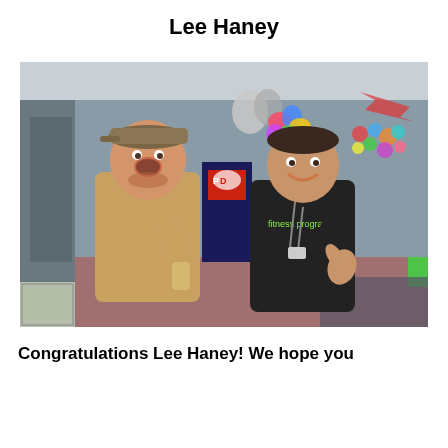Lee Haney
[Figure (photo): Two men posing together smiling in an office/retail space. The man on the left is wearing a tan jacket and baseball cap and holding something up. The man on the right is wearing a black t-shirt and giving a thumbs up. There are decorative balloons and colorful wall art in the background, along with a Pepsi vending machine.]
Congratulations Lee Haney!  We hope you